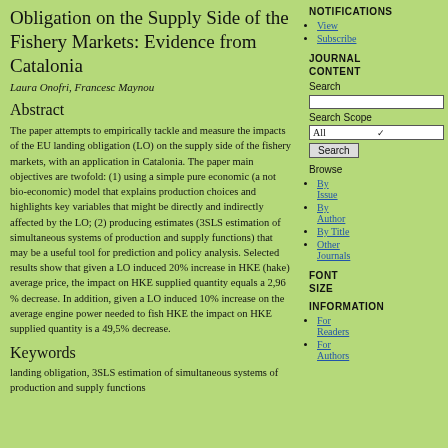Obligation on the Supply Side of the Fishery Markets: Evidence from Catalonia
Laura Onofri, Francesc Maynou
Abstract
The paper attempts to empirically tackle and measure the impacts of the EU landing obligation (LO) on the supply side of the fishery markets, with an application in Catalonia. The paper main objectives are twofold: (1) using a simple pure economic (a not bio-economic) model that explains production choices and highlights key variables that might be directly and indirectly affected by the LO; (2) producing estimates (3SLS estimation of simultaneous systems of production and supply functions) that may be a useful tool for prediction and policy analysis. Selected results show that given a LO induced 20% increase in HKE (hake) average price, the impact on HKE supplied quantity equals a 2,96 % decrease. In addition, given a LO induced 10% increase on the average engine power needed to fish HKE the impact on HKE supplied quantity is a 49,5% decrease.
Keywords
landing obligation, 3SLS estimation of simultaneous systems of production and supply functions
NOTIFICATIONS
View
Subscribe
JOURNAL CONTENT
Search
Search Scope
All
Search
Browse
By Issue
By Author
By Title
Other Journals
FONT SIZE
INFORMATION
For Readers
For Authors